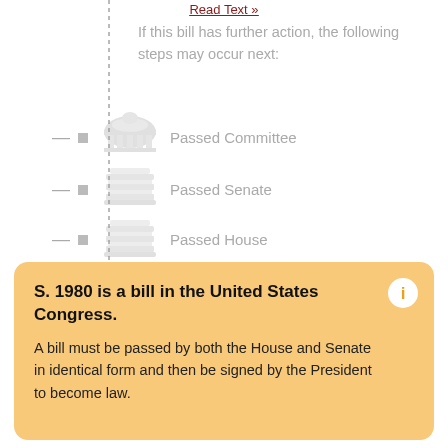Read Text »
If this bill has further action, the following steps may occur next:
Passed Committee
Passed Senate
Passed House
Signed by the President
S. 1980 is a bill in the United States Congress.
A bill must be passed by both the House and Senate in identical form and then be signed by the President to become law.